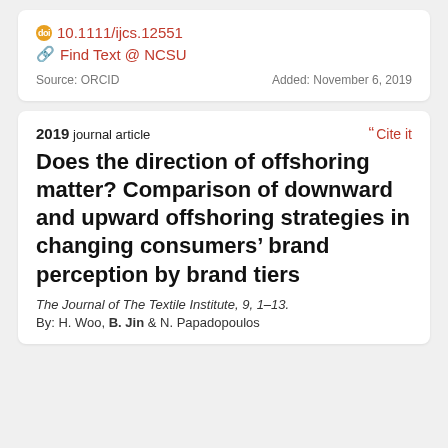10.1111/ijcs.12551
Find Text @ NCSU
Source: ORCID    Added: November 6, 2019
2019 journal article
Cite it
Does the direction of offshoring matter? Comparison of downward and upward offshoring strategies in changing consumers’ brand perception by brand tiers
The Journal of The Textile Institute, 9, 1–13.
By: H. Woo, B. Jin & N. Papadopoulos